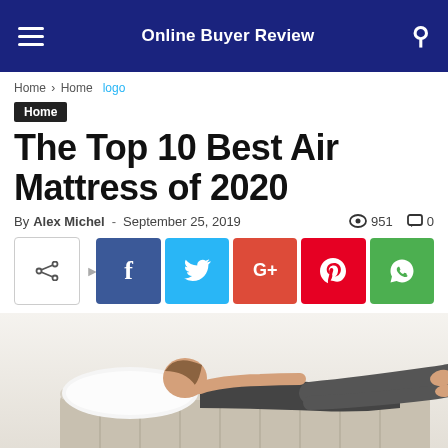Online Buyer Review
Home › Home logo
Home
The Top 10 Best Air Mattress of 2020
By Alex Michel - September 25, 2019 👁 951 💬 0
[Figure (infographic): Social share buttons row: share icon, Facebook (f), Twitter, Google+, Pinterest, WhatsApp]
[Figure (photo): Woman lying on an inflatable air mattress with a white pillow, wearing dark workout clothes, on a white background.]